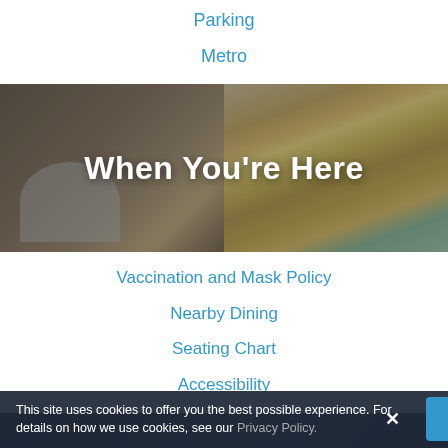Parking
Metro
[Figure (photo): Banner image showing food dish and cocktail drinks on a dark overlay background with text 'When You're Here']
When You're Here
Vaccination and Mask Policy
Nearby Dining
Seating Chart
Accessibility
[Figure (photo): Dark image of orchestra musicians at bottom of page]
This site uses cookies to offer you the best possible experience. For details on how we use cookies, see our Privacy Policy.